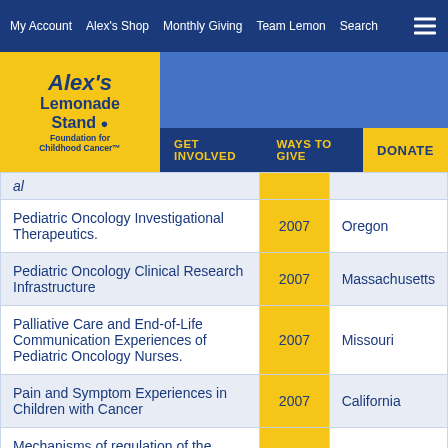My Account   Alex's Shop   Monthly Giving   Team Lemon   Search
[Figure (logo): Alex's Lemonade Stand Foundation for Childhood Cancer logo in yellow box]
GET INVOLVED   WAYS TO GIVE   DONATE
|  | Year | State |
| --- | --- | --- |
| al |  |  |
| Pediatric Oncology Investigational Therapeutics. | 2007 | Oregon |
| Pediatric Oncology Clinical Research Infrastructure | 2007 | Massachusetts |
| Palliative Care and End-of-Life Communication Experiences of Pediatric Oncology Nurses. | 2007 | Missouri |
| Pain and Symptom Experiences in Children with Cancer | 2007 | California |
| Mechanisms of regulation of the PI#K/AKT pathway downstream of NOTCH1 in T-ALL. | 2007 | New York |